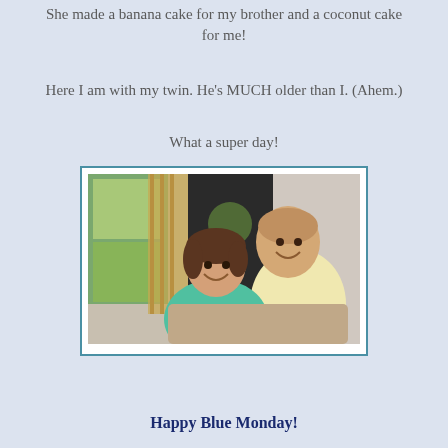She made a banana cake for my brother and a coconut cake for me!
Here I am with my twin. He's MUCH older than I. (Ahem.)
What a super day!
[Figure (photo): Two people seated indoors, a woman in a teal patterned blouse and a man in a light yellow short-sleeved shirt, smiling, with a window and curtains in the background.]
Happy Blue Monday!